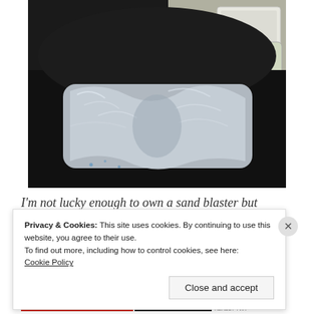[Figure (photo): A wrapped object (possibly parts or components) tightly wrapped in clear plastic/shrink wrap, sitting on a black plastic trash bag, with a white plastic storage bin visible in the background.]
I'm not lucky enough to own a sand blaster but
Privacy & Cookies: This site uses cookies. By continuing to use this website, you agree to their use.
To find out more, including how to control cookies, see here:
Cookie Policy
Close and accept